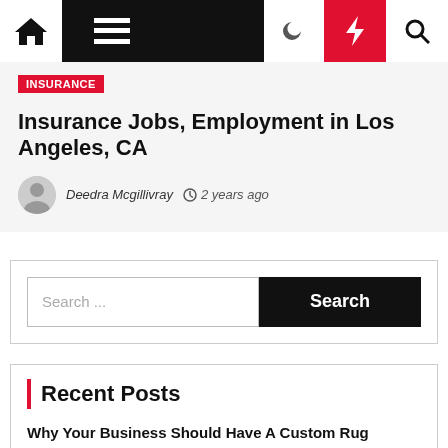Navigation bar with home, menu, dark mode, bolt/flash, and search icons
Insurance
Insurance Jobs, Employment in Los Angeles, CA
Deedra Mcgillivray  2 years ago
Search ...
Recent Posts
Why Your Business Should Have A Custom Rug